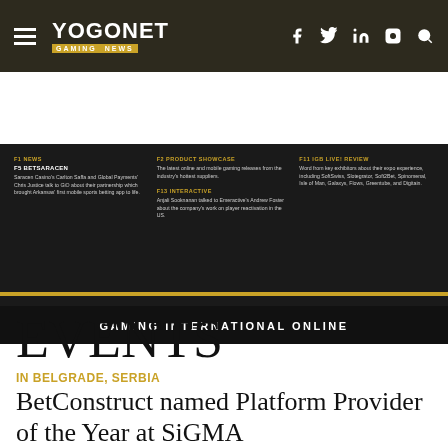YOGONET GAMING NEWS
[Figure (screenshot): Gaming International Online magazine banner showing three columns: News (BetsaRacen), Product Showcase, and IGB Live! Review, on dark background]
EVENTS
IN BELGRADE, SERBIA
BetConstruct named Platform Provider of the Year at SiGMA